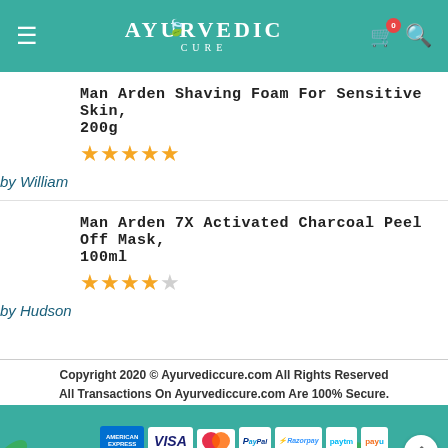[Figure (screenshot): Ayurvedic Cure website header with teal background, hamburger menu, logo, cart icon with badge showing 0, and search icon]
Man Arden Shaving Foam For Sensitive Skin, 200g
[Figure (other): 5 out of 5 stars rating in gold]
by William
Man Arden 7X Activated Charcoal Peel Off Mask, 100ml
[Figure (other): 4 out of 5 stars rating, 4 gold and 1 empty star]
by Hudson
Copyright 2020 © Ayurvediccure.com All Rights Reserved
All Transactions On Ayurvediccure.com Are 100% Secure.
[Figure (other): Payment logos: American Express, Visa, MasterCard, PayPal, Razorpay, Paytm, PayU on teal footer background with leaf decorations]